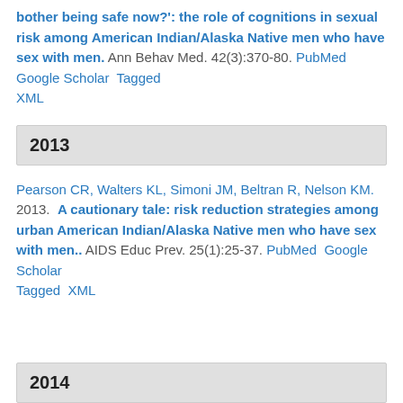bother being safe now?': the role of cognitions in sexual risk among American Indian/Alaska Native men who have sex with men. Ann Behav Med. 42(3):370-80. PubMed Google Scholar Tagged XML
2013
Pearson CR, Walters KL, Simoni JM, Beltran R, Nelson KM. 2013. A cautionary tale: risk reduction strategies among urban American Indian/Alaska Native men who have sex with men.. AIDS Educ Prev. 25(1):25-37. PubMed Google Scholar Tagged XML
2014